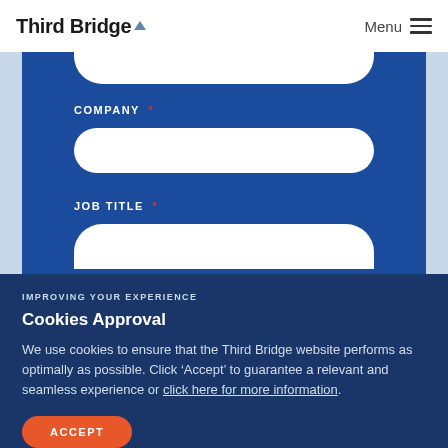Third Bridge  Menu
COMPANY *
JOB TITLE *
IMPROVING YOUR EXPERIENCE
Cookies Approval
We use cookies to ensure that the Third Bridge website performs as optimally as possible. Click ‘Accept’ to guarantee a relevant and seamless experience or click here for more information.
ACCEPT